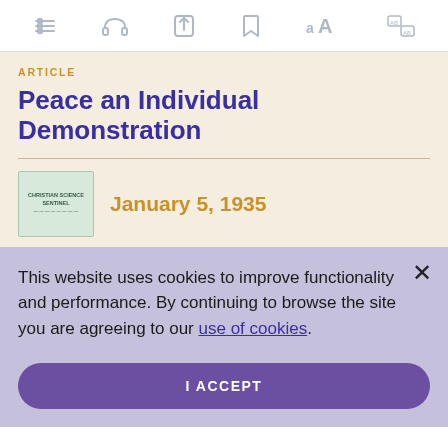Toolbar with navigation icons: menu, headphones, share, bookmark, font size (aA), translation
ARTICLE
Peace an Individual Demonstration
January 5, 1935
This website uses cookies to improve functionality and performance. By continuing to browse the site you are agreeing to our use of cookies.
I ACCEPT